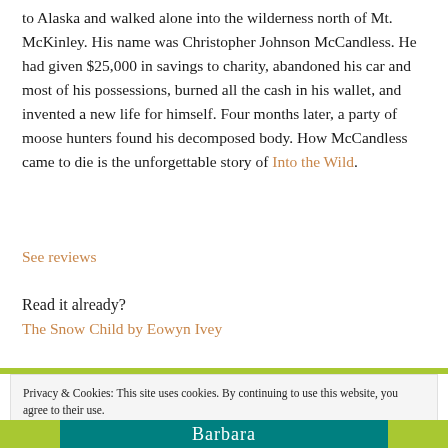to Alaska and walked alone into the wilderness north of Mt. McKinley. His name was Christopher Johnson McCandless. He had given $25,000 in savings to charity, abandoned his car and most of his possessions, burned all the cash in his wallet, and invented a new life for himself. Four months later, a party of moose hunters found his decomposed body. How McCandless came to die is the unforgettable story of Into the Wild.
See reviews
Read it already?
The Snow Child by Eowyn Ivey
Privacy & Cookies: This site uses cookies. By continuing to use this website, you agree to their use. To find out more, including how to control cookies, see here: Cookie Policy
Close and accept
Barbara